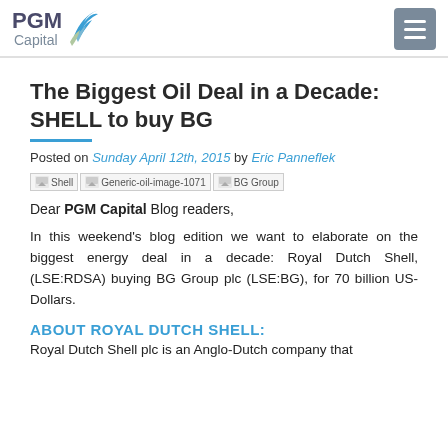PGM Capital
The Biggest Oil Deal in a Decade: SHELL to buy BG
Posted on Sunday April 12th, 2015 by Eric Panneflek
[Figure (logo): Three company logos: Shell, Generic-oil-image-1071, BG Group]
Dear PGM Capital Blog readers,
In this weekend's blog edition we want to elaborate on the biggest energy deal in a decade: Royal Dutch Shell, (LSE:RDSA) buying BG Group plc (LSE:BG), for 70 billion US-Dollars.
ABOUT ROYAL DUTCH SHELL:
Royal Dutch Shell plc is an Anglo-Dutch company that